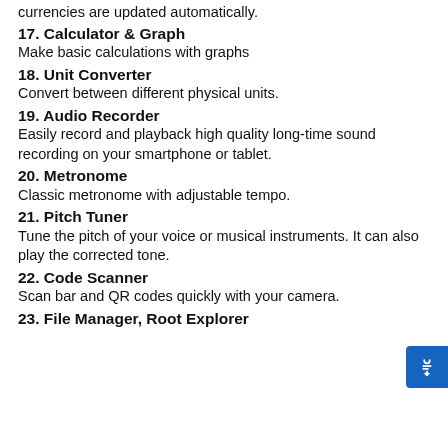currencies are updated automatically.
17. Calculator & Graph
Make basic calculations with graphs
18. Unit Converter
Convert between different physical units.
19. Audio Recorder
Easily record and playback high quality long-time sound recording on your smartphone or tablet.
20. Metronome
Classic metronome with adjustable tempo.
21. Pitch Tuner
Tune the pitch of your voice or musical instruments. It can also play the corrected tone.
22. Code Scanner
Scan bar and QR codes quickly with your camera.
23. File Manager, Root Explorer